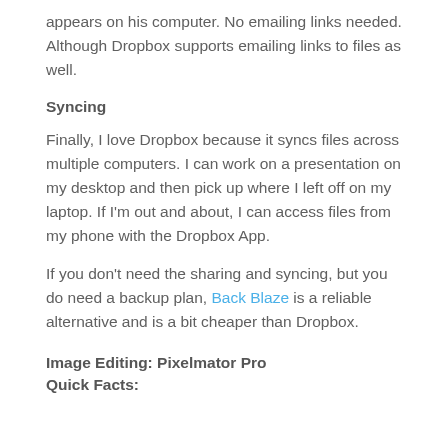appears on his computer. No emailing links needed. Although Dropbox supports emailing links to files as well.
Syncing
Finally, I love Dropbox because it syncs files across multiple computers. I can work on a presentation on my desktop and then pick up where I left off on my laptop. If I'm out and about, I can access files from my phone with the Dropbox App.
If you don't need the sharing and syncing, but you do need a backup plan, Back Blaze is a reliable alternative and is a bit cheaper than Dropbox.
Image Editing: Pixelmator Pro
Quick Facts: